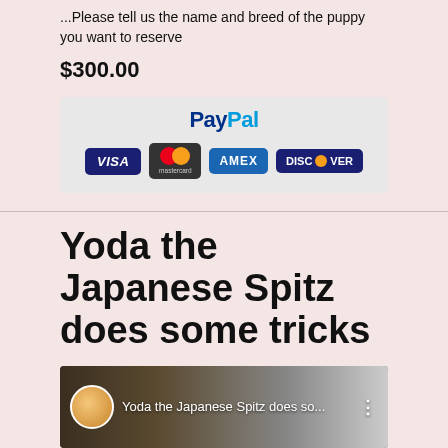Please tell us the name and breed of the puppy you want to reserve
$300.00
[Figure (logo): PayPal payment button with PayPal logo and credit card logos (Visa, Mastercard, AMEX, Discover)]
Yoda the Japanese Spitz does some tricks
[Figure (screenshot): YouTube video thumbnail showing 'Yoda the Japanese Spitz does so...' with a white dog visible]